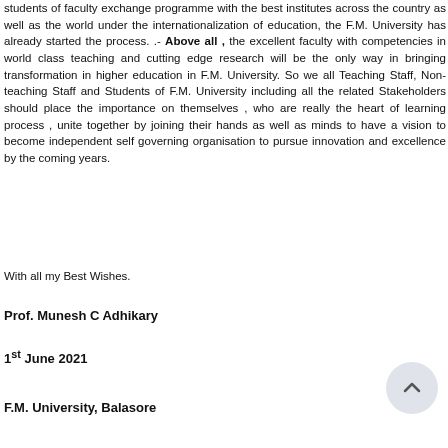students of faculty exchange programme with the best institutes across the country as well as the world under the internationalization of education, the F.M. University has already started the process. .- Above all , the excellent faculty with competencies in world class teaching and cutting edge research will be the only way in bringing transformation in higher education in F.M. University. So we all Teaching Staff, Non-teaching Staff and Students of F.M. University including all the related Stakeholders should place the importance on themselves , who are really the heart of learning process , unite together by joining their hands as well as minds to have a vision to become independent self governing organisation to pursue innovation and excellence by the coming years.
With all my Best Wishes.
Prof. Munesh C Adhikary
1st June 2021
F.M. University, Balasore